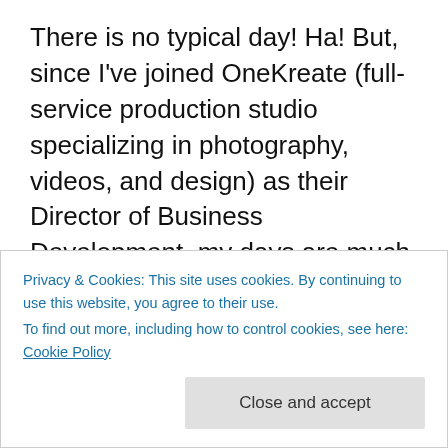There is no typical day! Ha! But, since I've joined OneKreate (full-service production studio specializing in photography, videos, and design) as their Director of Business Development, my days are much more consistent. I'm basically working two full-time jobs (Fashion Week Columbus and OneKreate), so I must keep everything organized and be flexible with meetings even if it's a weekend meeting request. I do try to hold the rule I set for myself several years ago: no meetings on Mondays. Sometimes my days are full of meetings and
Privacy & Cookies: This site uses cookies. By continuing to use this website, you agree to their use. To find out more, including how to control cookies, see here: Cookie Policy
an FWC event) showcasing and honoring local fashion